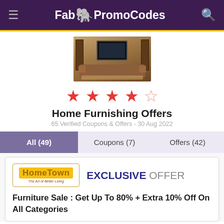FabPromoCodes
[Figure (photo): Living room furniture photo showing a TV stand with television and a brown sofa]
★★★★☆
Home Furnishing Offers
65 Verified Coupons & Offers - 30 Aug 2022
All (49)   Coupons (7)   Offers (42)
[Figure (logo): HomeTown - The Art of Better Living logo]
EXCLUSIVE OFFER
Furniture Sale : Get Up To 80% + Extra 10% Off On All Categories